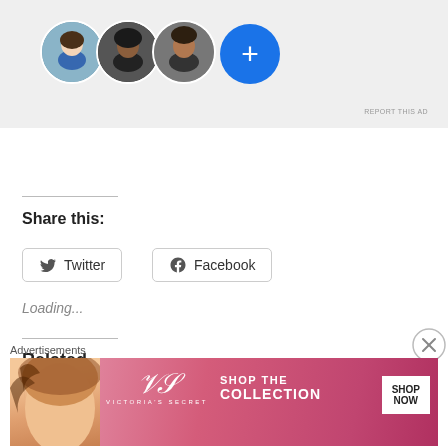[Figure (screenshot): Top banner ad area showing circular avatar photos (3 people) and a blue plus button circle on a light gray background]
REPORT THIS AD
Share this:
[Figure (screenshot): Twitter share button with Twitter bird icon]
[Figure (screenshot): Facebook share button with Facebook logo icon]
Loading...
Related
Texas School Shooter
Celina Student Suspended
[Figure (screenshot): Victoria's Secret advertisement banner with a model, VS logo, 'SHOP THE COLLECTION' text and 'SHOP NOW' button]
Advertisements